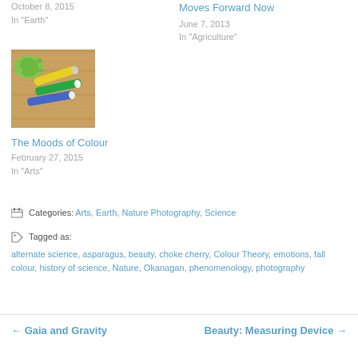October 8, 2015
In "Earth"
Moves Forward Now
June 7, 2013
In "Agriculture"
[Figure (photo): Photo of a green rubber turtle toy and three markers/pens on a wooden surface]
The Moods of Colour
February 27, 2015
In "Arts"
Categories: Arts, Earth, Nature Photography, Science
Tagged as: alternate science, asparagus, beauty, choke cherry, Colour Theory, emotions, fall colour, history of science, Nature, Okanagan, phenomenology, photography
← Gaia and Gravity
Beauty: Measuring Device →